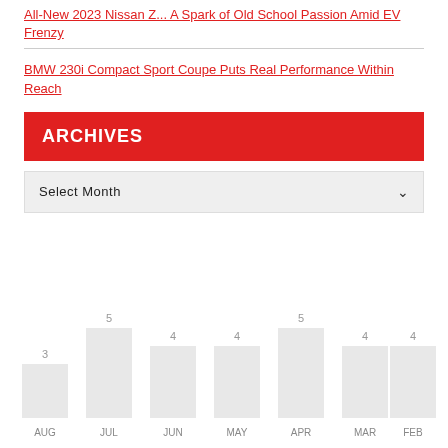All-New 2023 Nissan Z... A Spark of Old School Passion Amid EV Frenzy
BMW 230i Compact Sport Coupe Puts Real Performance Within Reach
ARCHIVES
Select Month
[Figure (bar-chart): Monthly article counts]